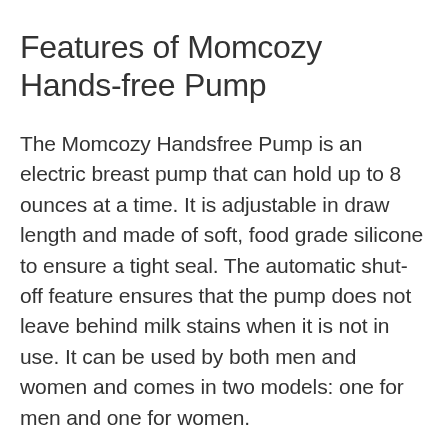Features of Momcozy Hands-free Pump
The Momcozy Handsfree Pump is an electric breast pump that can hold up to 8 ounces at a time. It is adjustable in draw length and made of soft, food grade silicone to ensure a tight seal. The automatic shut-off feature ensures that the pump does not leave behind milk stains when it is not in use. It can be used by both men and women and comes in two models: one for men and one for women.
The pump can be used in two modes and has five levels of stimulation. It also sits directly on the breast. This is a huge plus. The pump also features an auto shut-off function, which turns it